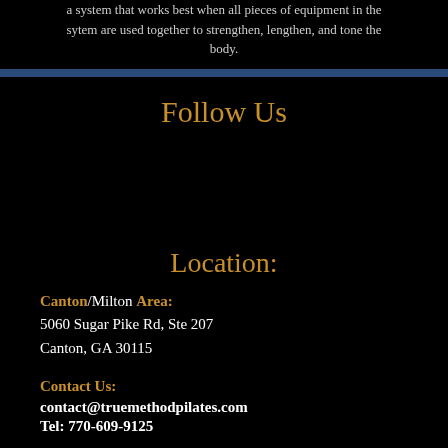a system that works best when all pieces of equipment in the sytem are used together to strengthen, lengthen, and tone the body.
Follow Us
Location:
Canton/Milton Area:
5060 Sugar Pike Rd, Ste 207
Canton, GA 30115
Contact Us:
contact@truemethodpilates.com
Tel: 770-609-9125